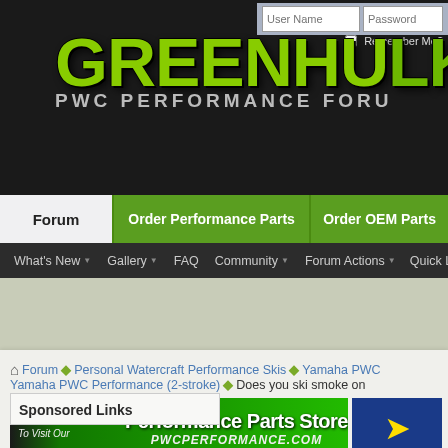[Figure (screenshot): GreenHulk.net PWC Performance Forum website header with logo, login fields, navigation tabs (Forum, Order Performance Parts, Order OEM Parts), and secondary navigation bar (What's New, Gallery, FAQ, Community, Forum Actions, Quick Links)]
Forum  Order Performance Parts  Order OEM Parts
What's New  Gallery  FAQ  Community  Forum Actions  Quick Links
Forum  Personal Watercraft Performance Skis  Yamaha PWC  Yamaha PWC Performance (2-stroke)  Does you ski smoke on
[Figure (screenshot): Performance Parts Store banner advertisement - Click Here To Visit Our pwcperformance.com]
Sponsored Links